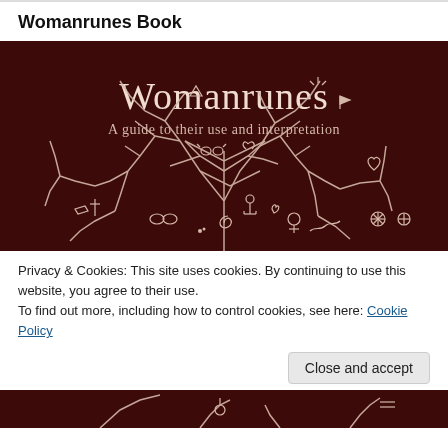Womanrunes Book
[Figure (illustration): Book cover image for 'Womanrunes: A guide to their use and interpretation'. Dark maroon/brown background with white illustrated tree branches decorated with symbolic rune-like figures and icons. White serif text reads 'Womanrunes' and below it 'A guide to their use and interpretation'.]
Privacy & Cookies: This site uses cookies. By continuing to use this website, you agree to their use.
To find out more, including how to control cookies, see here: Cookie Policy
[Figure (illustration): Bottom strip showing part of the book cover image, dark maroon background with white illustrated figures.]